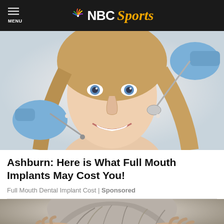MENU | NBC Sports
[Figure (photo): A young smiling woman with blue eyes receiving a dental examination from a dentist wearing blue gloves holding dental tools]
Ashburn: Here is What Full Mouth Implants May Cost You!
Full Mouth Dental Implant Cost | Sponsored
[Figure (photo): An elderly person with gray hair holding their head with both hands, viewed from above]